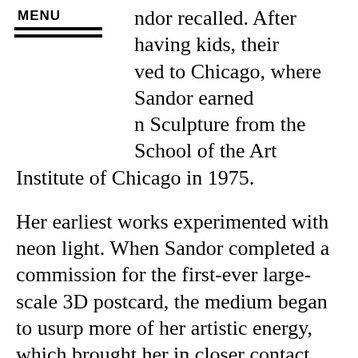MENU
ndor recalled. After having kids, their ved to Chicago, where Sandor earned n Sculpture from the School of the Art Institute of Chicago in 1975.
Her earliest works experimented with neon light. When Sandor completed a commission for the first-ever large-scale 3D postcard, the medium began to usurp more of her artistic energy, which brought her in closer contact with collaborators in the sciences. “It just made sense,” she noted. “The people we could collaborate with were scientists. They were interested in this new technology.”
“A personal story evolved after that,” she said. Watching close friends suffer from cancer, the